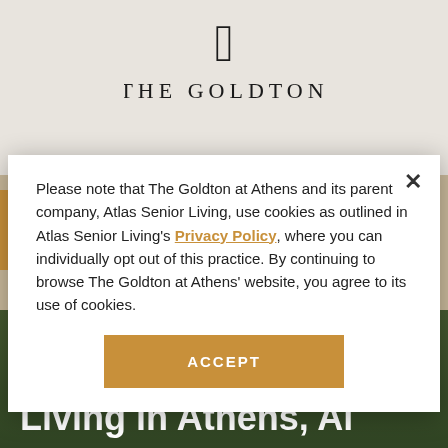[Figure (logo): The Goldton logo with decorative script G and THE GOLDTON text in serif caps]
Please note that The Goldton at Athens and its parent company, Atlas Senior Living, use cookies as outlined in Atlas Senior Living's Privacy Policy, where you can individually opt out of this practice. By continuing to browse The Goldton at Athens' website, you agree to its use of cookies.
ACCEPT
Living and Assisted Living in Athens, AL